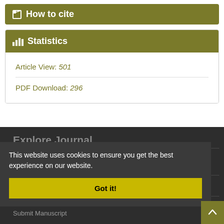How to cite
Statistics
Article View: 501
PDF Download: 296
Explore Journal
This website uses cookies to ensure you get the best experience on our website.
Got it!
About Journal
Editorial Board
Submit Manuscript